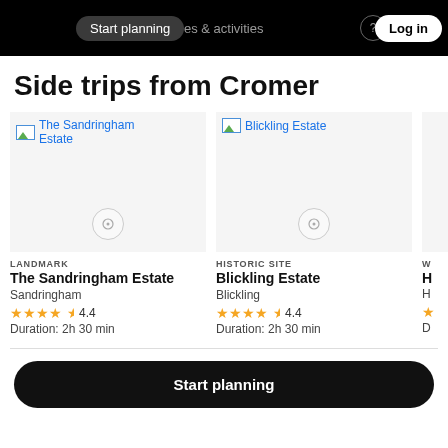Start planning  es & activities  Log in
Side trips from Cromer
[Figure (screenshot): Card for The Sandringham Estate: broken image placeholder with text 'The Sandringham Estate', category label LANDMARK, name 'The Sandringham Estate', location 'Sandringham', rating 4.4 stars, duration 2h 30 min]
[Figure (screenshot): Card for Blickling Estate: broken image placeholder with text 'Blickling Estate', category label HISTORIC SITE, name 'Blickling Estate', location 'Blickling', rating 4.4 stars, duration 2h 30 min]
Start planning